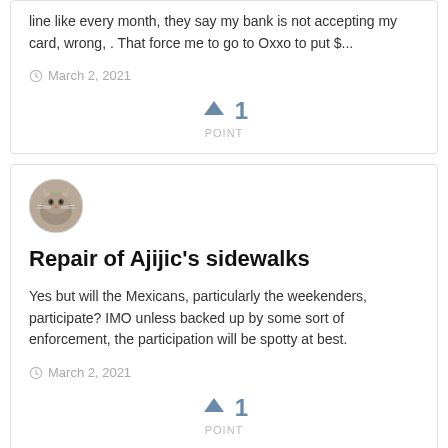line like every month, they say my bank is not accepting my card, wrong, . That force me to go to Oxxo to put $...
March 2, 2021
1 POINT
[Figure (photo): Circular avatar showing a cat photo]
Repair of Ajijic's sidewalks
Yes but will the Mexicans, particularly the weekenders, participate? IMO unless backed up by some sort of enforcement, the participation will be spotty at best.
March 2, 2021
1 POINT